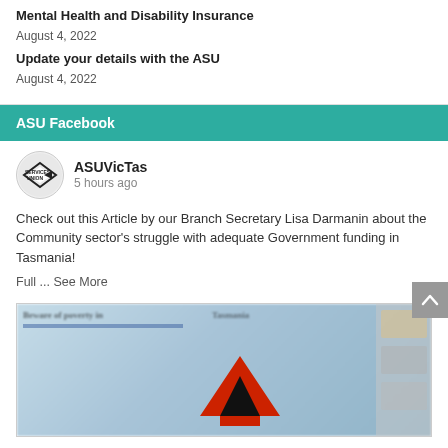Mental Health and Disability Insurance
August 4, 2022
Update your details with the ASU
August 4, 2022
ASU Facebook
ASUVicTas
5 hours ago
Check out this Article by our Branch Secretary Lisa Darmanin about the Community sector's struggle with adequate Government funding in Tasmania!
Full ... See More
[Figure (screenshot): Blurred newspaper article image with red arrow shape, partial headline text visible]